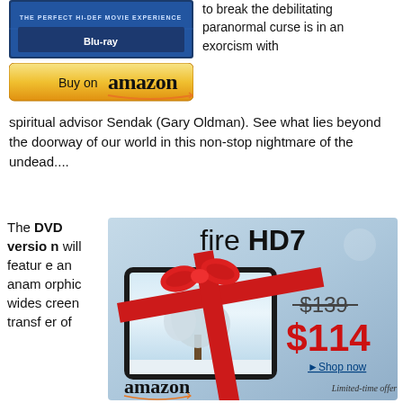[Figure (photo): Blu-ray movie case - The Perfect Hi-Def Movie Experience]
[Figure (other): Buy on Amazon button with golden background and Amazon logo]
to break the debilitating paranormal curse is in an exorcism with spiritual advisor Sendak (Gary Oldman). See what lies beyond the doorway of our world in this non-stop nightmare of the undead....
The DVD version will feature an anamorphic widescreen transfer of
[Figure (infographic): Amazon Fire HD7 advertisement showing tablet with red ribbon bow, original price $139 crossed out, sale price $114 in red, Shop now link, amazon logo, Limited-time offer text]